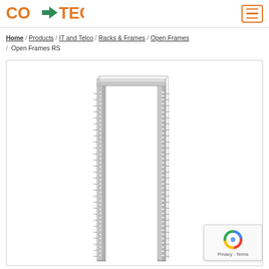[Figure (logo): CO-TEC company logo with orange text and green arrow icon]
Home / Products / IT and Telco / Racks & Frames / Open Frames / Open Frames RS
[Figure (photo): An open rack frame (Open Frames RS) — a tall, narrow metallic two-post open rack with numbered unit markings on both vertical rails and a horizontal top bar connecting them.]
[Figure (other): Google reCAPTCHA badge with logo and Privacy - Terms text]